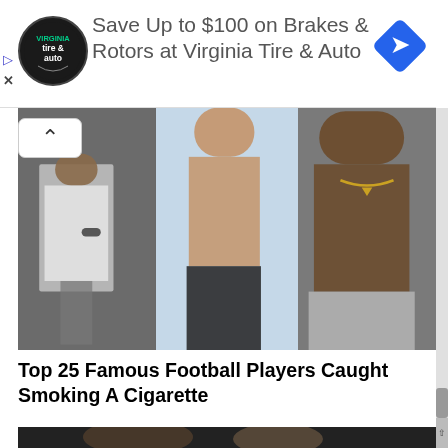[Figure (other): Advertisement banner for Virginia Tire & Auto showing logo, text 'Save Up to $100 on Brakes & Rotors at Virginia Tire & Auto', and a blue diamond arrow icon]
[Figure (photo): Collage of three photos showing shirtless or partially clothed football players]
Top 25 Famous Football Players Caught Smoking A Cigarette
[Figure (photo): Photo of two people at what appears to be an event, a large man in white and a woman smiling]